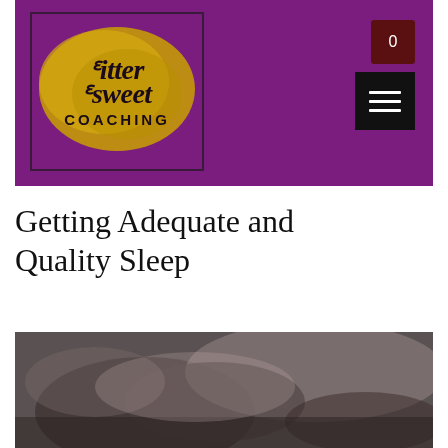[Figure (screenshot): Website header for Bittersweet Coaching with purple background, logo in a bordered box with gold brush stroke, shopping bag icon showing 0, and black hamburger menu icon.]
Getting Adequate and Quality Sleep
[Figure (photo): Blurry photograph of a person sleeping in bed, showing bedding and pillows in muted dark tones.]